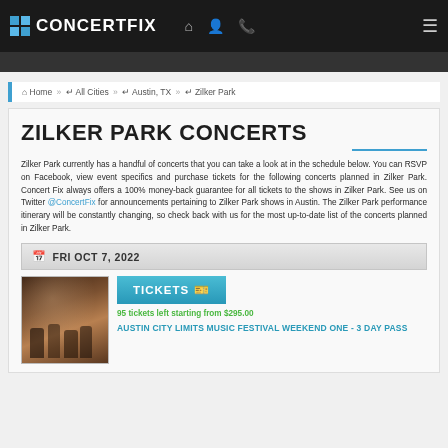CONCERTFIX
Home » All Cities » Austin, TX » Zilker Park
ZILKER PARK CONCERTS
Zilker Park currently has a handful of concerts that you can take a look at in the schedule below. You can RSVP on Facebook, view event specifics and purchase tickets for the following concerts planned in Zilker Park. Concert Fix always offers a 100% money-back guarantee for all tickets to the shows in Zilker Park. See us on Twitter @ConcertFix for announcements pertaining to Zilker Park shows in Austin. The Zilker Park performance itinerary will be constantly changing, so check back with us for the most up-to-date list of the concerts planned in Zilker Park.
FRI OCT 7, 2022
[Figure (photo): Band promotional photo with multiple members]
TICKETS
95 tickets left starting from $295.00
AUSTIN CITY LIMITS MUSIC FESTIVAL WEEKEND ONE - 3 DAY PASS